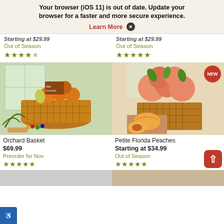Your browser (iOS 11) is out of date. Update your browser for a faster and more secure experience. Learn More ✕
Starting at $29.99
Out of Season
★★★★½
Starting at $29.99
Out of Season
★★★★★
[Figure (photo): Orchard basket with oranges, pears, chocolate, and other items in a wicker basket with pine branches]
[Figure (photo): Petite Florida Peaches in a wooden basket with sliced peaches on a cutting board, NEW badge in top right]
Orchard Basket
$69.99
Preorder for Nov
★★★★★
Petite Florida Peaches
Starting at $34.99
Out of Season
★★★★★